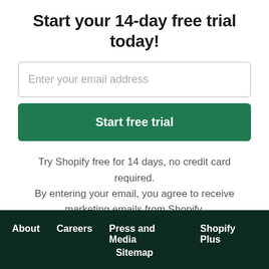Start your 14-day free trial today!
Enter your email address
Start free trial
Try Shopify free for 14 days, no credit card required. By entering your email, you agree to receive marketing emails from Shopify.
About  Careers  Press and Media  Shopify Plus  Sitemap